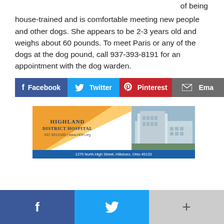of being house-trained and is comfortable meeting new people and other dogs. She appears to be 2-3 years old and weighs about 60 pounds. To meet Paris or any of the dogs at the dog pound, call 937-393-8191 for an appointment with the dog warden.
[Figure (infographic): Social sharing buttons: Facebook (blue), Twitter (light blue), Pinterest (red), Email (grey), partially cut off]
[Figure (infographic): Highland District Hospital advertisement banner: orange/white diagonal graphic on left, hospital building aerial photo on right, text: Highland District Hospital, 937.393.6100 | www.HDH.org, 1275 North High Street, Hillsboro, Ohio 45133]
[Figure (infographic): Bottom floating social share bar with Facebook (dark blue), Twitter (light blue), and More/Plus (grey) buttons]